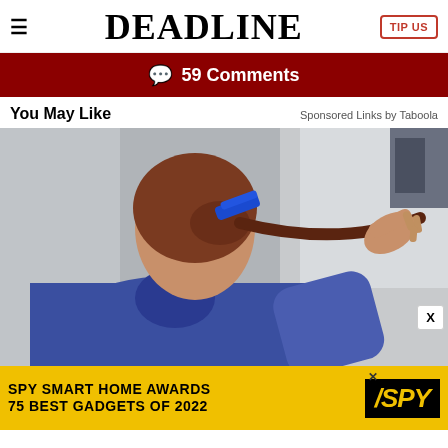DEADLINE  TIP US
59 Comments
You May Like
Sponsored Links by Taboola
[Figure (photo): Woman seen from behind braiding or styling her auburn/red-brown hair with a blue clip, wearing a blue hoodie, photographed indoors in front of a mirror]
[Figure (infographic): Advertisement banner for SPY Smart Home Awards - 75 Best Gadgets of 2022 on yellow background with SPY logo in black]